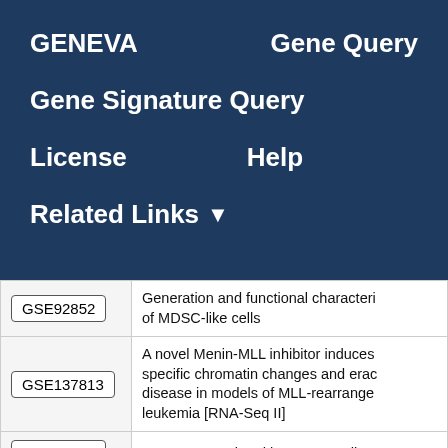GENEVA   Gene Query
Gene Signature Query
License   Help
Related Links ▾
| ID | Description |
| --- | --- |
| GSE92852 | Generation and functional characteri of MDSC-like cells |
| GSE137813 | A novel Menin-MLL inhibitor induces specific chromatin changes and erac disease in models of MLL-rearranged leukemia [RNA-Seq II] |
| GSE58989 | DNMT1-associated long non-coding |